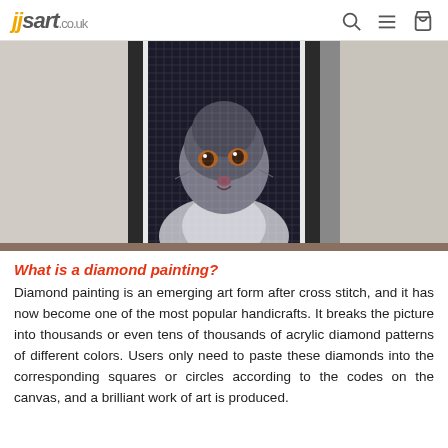jjsart.co.uk
[Figure (photo): A fluffy grey cat with orange eyes looking upward, behind a diamond painting canvas in a white frame, showing the grid/dot pattern of a diamond painting artwork.]
What is a diamond painting?
Diamond painting is an emerging art form after cross stitch, and it has now become one of the most popular handicrafts. It breaks the picture into thousands or even tens of thousands of acrylic diamond patterns of different colors. Users only need to paste these diamonds into the corresponding squares or circles according to the codes on the canvas, and a brilliant work of art is produced.